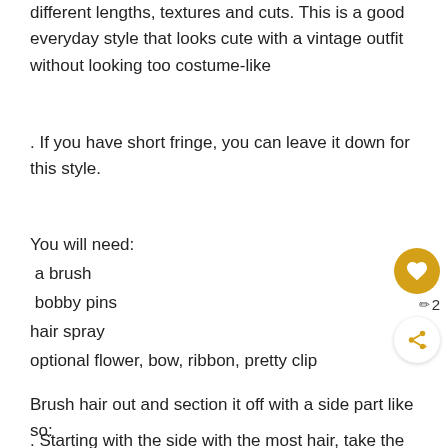different lengths, textures and cuts. This is a good everyday style that looks cute with a vintage outfit without looking too costume-like
. If you have short fringe, you can leave it down for this style.
You will need:
a brush
bobby pins
hair spray
optional flower, bow, ribbon, pretty clip
Brush hair out and section it off with a side part like so:
. Starting with the side with the most hair, take the